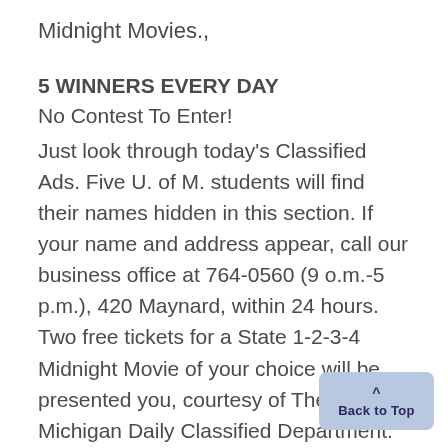Midnight Movies.,
5 WINNERS EVERY DAY
No Contest To Enter!
Just look through today's Classified Ads. Five U. of M. students will find their names hidden in this section. If your name and address appear, call our business office at 764-0560 (9 o.m.-5 p.m.), 420 Maynard, within 24 hours. Two free tickets for a State 1-2-3-4 Midnight Movie of your choice will be presented you, courtesy of The Michigan Daily Classified Department.